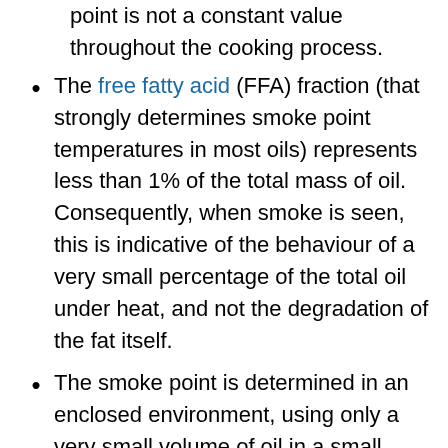point is not a constant value throughout the cooking process.
The free fatty acid (FFA) fraction (that strongly determines smoke point temperatures in most oils) represents less than 1% of the total mass of oil. Consequently, when smoke is seen, this is indicative of the behaviour of a very small percentage of the total oil under heat, and not the degradation of the fat itself.
The smoke point is determined in an enclosed environment, using only a very small volume of oil in a small brass capsule. It has been documented that the smoke point significantly increases where there is a larger recipient, larger volume of oil heated, and in the presence of air. Consequently, oils under normal cooking conditions can reach